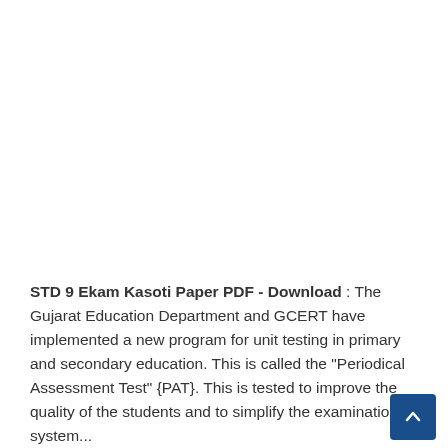STD 9 Ekam Kasoti Paper PDF - Download : The Gujarat Education Department and GCERT have implemented a new program for unit testing in primary and secondary education. This is called the "Periodical Assessment Test" {PAT}. This is tested to improve the quality of the students and to simplify the examination system...